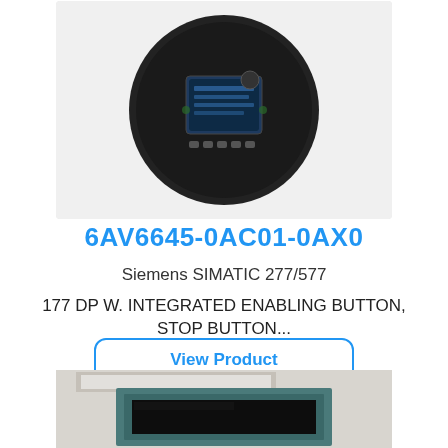[Figure (photo): Circular black industrial device (Siemens SIMATIC 277/577) with small display screen and buttons, photographed against white background]
6AV6645-0AC01-0AX0
Siemens SIMATIC 277/577
177 DP W. INTEGRATED ENABLING BUTTON, STOP BUTTON...
View Product
[Figure (photo): Siemens industrial panel/HMI device with teal/green bezel and dark screen, partially visible, photographed in a warehouse or industrial setting with a company sign visible in background]